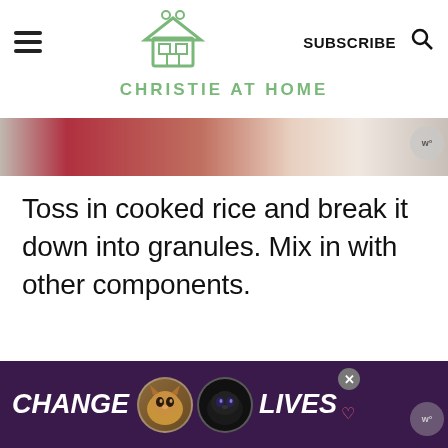CHRISTIE AT HOME
[Figure (photo): Partial view of a person in red clothing, top of page image strip]
Toss in cooked rice and break it down into granules. Mix in with other components.
[Figure (photo): Close-up photo of cooked rice, white and fluffy, filling the lower portion of the page]
[Figure (photo): Advertisement banner: CHANGE LIVES with cat photos, on purple background]